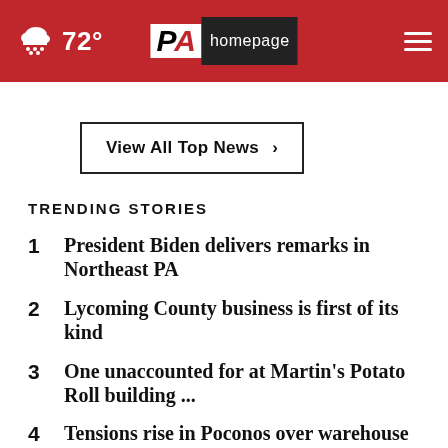[Figure (screenshot): PA Homepage website header with red background, weather icon showing cloud with rain and 72° temperature, PA homepage logo in center, and hamburger menu icon on right]
View All Top News ›
TRENDING STORIES
1 President Biden delivers remarks in Northeast PA
2 Lycoming County business is first of its kind
3 One unaccounted for at Martin's Potato Roll building ...
4 Tensions rise in Poconos over warehouse plans